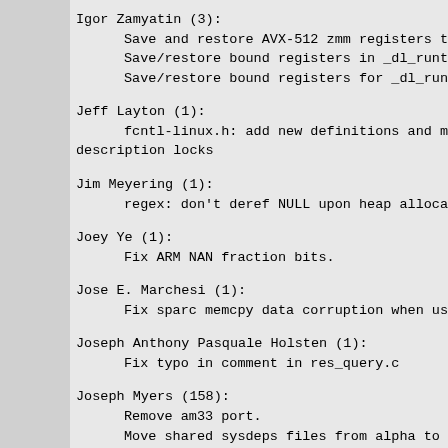Igor Zamyatin (3):
      Save and restore AVX-512 zmm registers to x86-
      Save/restore bound registers in _dl_runtime_re
      Save/restore bound registers for _dl_runtime_p
Jeff Layton (1):
      fcntl-linux.h: add new definitions and manual
description locks
Jim Meyering (1):
      regex: don't deref NULL upon heap allocation f
Joey Ye (1):
      Fix ARM NAN fraction bits.
Jose E. Marchesi (1):
      Fix sparc memcpy data corruption when using ni
Joseph Anthony Pasquale Holsten (1):
      Fix typo in comment in res_query.c
Joseph Myers (158):
      Remove am33 port.
      Move shared sysdeps files from alpha to arm.
      Move arm from ports to libc.
      Fix whitespace in ARM files to allow move.
      Remove mips dependency on alpha.
      Move shared umount.c from hppa to mips.
      Move mips from ports to libc.